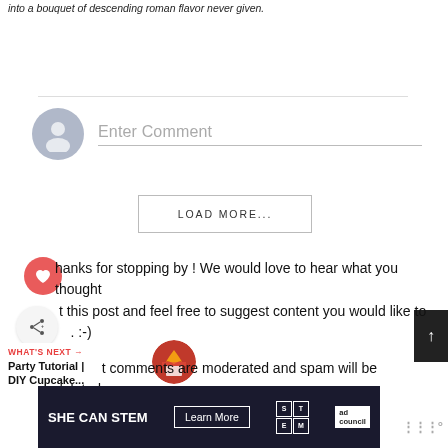into a bouquet of descending roman flavor never given.
[Figure (screenshot): Comment input field with avatar icon and 'Enter Comment' placeholder text]
[Figure (screenshot): LOAD MORE... button with border]
[Figure (screenshot): Heart (like) button, share button, back-to-top arrow, and social sharing UI]
Thanks for stopping by ! We would love to hear what you thought about this post and feel free to suggest content you would like to see. :-)
comments are moderated and spam will be deleted.
[Figure (screenshot): WHAT'S NEXT promotional block: Party Tutorial | DIY Cupcake... with thumbnail]
[Figure (screenshot): SHE CAN STEM ad banner with Learn More button, STEM logo, and Ad Council logo]